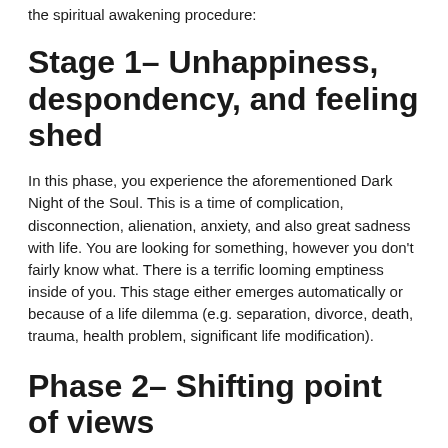the spiritual awakening procedure:
Stage 1– Unhappiness, despondency, and feeling shed
In this phase, you experience the aforementioned Dark Night of the Soul. This is a time of complication, disconnection, alienation, anxiety, and also great sadness with life. You are looking for something, however you don't fairly know what. There is a terrific looming emptiness inside of you. This stage either emerges automatically or because of a life dilemma (e.g. separation, divorce, death, trauma, health problem, significant life modification).
Phase 2– Shifting point of views